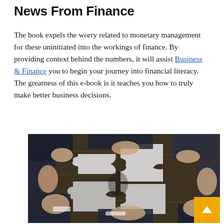News From Finance
The book expels the worry related to monetary management for these uninitiated into the workings of finance. By providing context behind the numbers, it will assist Business & Finance you to begin your journey into financial literacy. The greatness of this e-book is it teaches you how to truly make better business decisions.
[Figure (photo): Business people assembling large white puzzle pieces together around a dark wooden table, viewed from above, multiple pairs of hands visible in suits.]